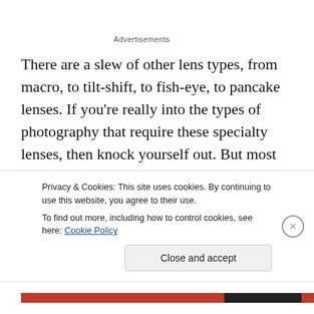Advertisements
There are a slew of other lens types, from macro, to tilt-shift, to fish-eye, to pancake lenses. If you're really into the types of photography that require these specialty lenses, then knock yourself out. But most people will not need these. The one exception might be a good telephoto macro lens, because it can do double duty as a macro lens, and as a general purpose telephoto lens. I will
Privacy & Cookies: This site uses cookies. By continuing to use this website, you agree to their use.
To find out more, including how to control cookies, see here: Cookie Policy
Close and accept